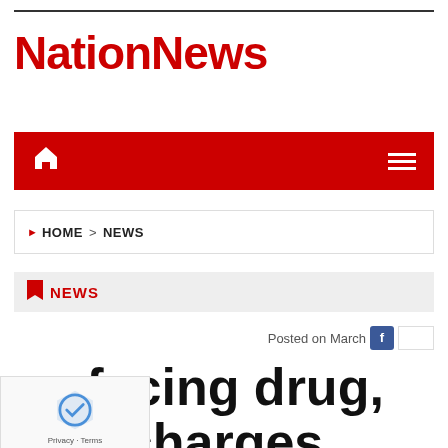NationNews
[Figure (screenshot): Red navigation bar with home icon on left and hamburger menu icon on right]
HOME > NEWS
NEWS
Posted on March
Three facing drug, firearm charges